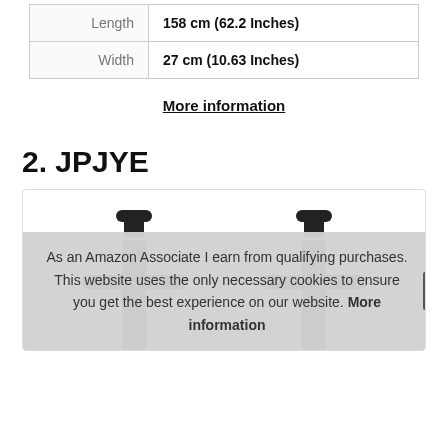| Length | 158 cm (62.2 Inches) |
| Width | 27 cm (10.63 Inches) |
More information
2. JPJYE
[Figure (photo): Product photo showing two dark luggage straps with handles, displayed against a white background inside a card.]
As an Amazon Associate I earn from qualifying purchases. This website uses the only necessary cookies to ensure you get the best experience on our website. More information